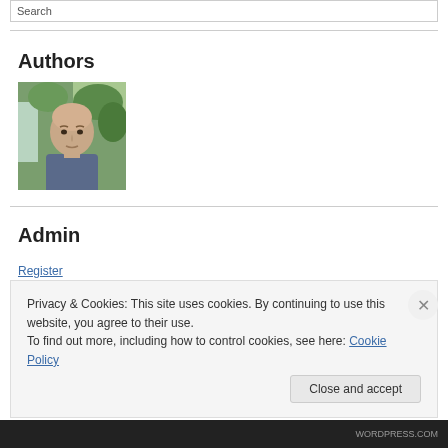Search
Authors
[Figure (photo): Portrait photo of a bald middle-aged man outdoors with green foliage background]
Admin
Register
Privacy & Cookies: This site uses cookies. By continuing to use this website, you agree to their use.
To find out more, including how to control cookies, see here: Cookie Policy
Close and accept